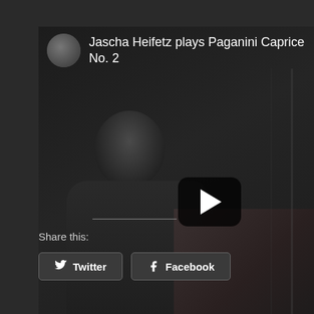[Figure (screenshot): YouTube embedded video player showing Jascha Heifetz plays Paganini Caprice No. 24, with a black-and-white thumbnail of a violinist and a play button overlay, plus a 'Watch on YouTube' bar at the bottom.]
Share this:
Twitter
Facebook